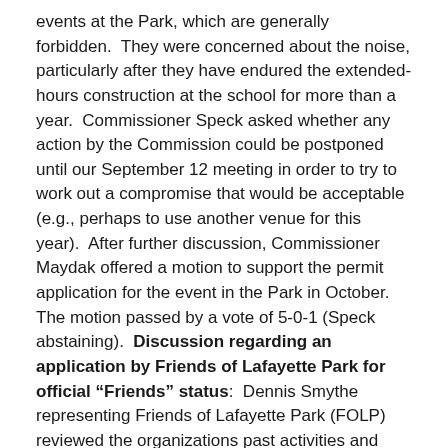events at the Park, which are generally forbidden.  They were concerned about the noise, particularly after they have endured the extended-hours construction at the school for more than a year.  Commissioner Speck asked whether any action by the Commission could be postponed until our September 12 meeting in order to try to work out a compromise that would be acceptable (e.g., perhaps to use another venue for this year).  After further discussion, Commissioner Maydak offered a motion to support the permit application for the event in the Park in October.  The motion passed by a vote of 5-0-1 (Speck abstaining).  Discussion regarding an application by Friends of Lafayette Park for official “Friends” status:  Dennis Smythe representing Friends of Lafayette Park (FOLP) reviewed the organizations past activities and proposed application to DPW for official “Friends” status.  Commissioners raised questions about the provision in the organization’s bylaws that there are no members, only directors who were essentially self-selected.  Commissioners expressed concerns that this structure